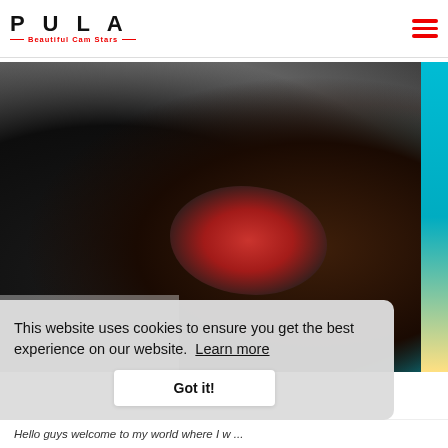PULA Beautiful Cam Stats
[Figure (photo): A woman in a floral red, black and white dress lying on a grey sofa wearing black boots, with teal/yellow background accent on the right side.]
This website uses cookies to ensure you get the best experience on our website. Learn more
Got it!
Hello guys welcome to my world where I w ...